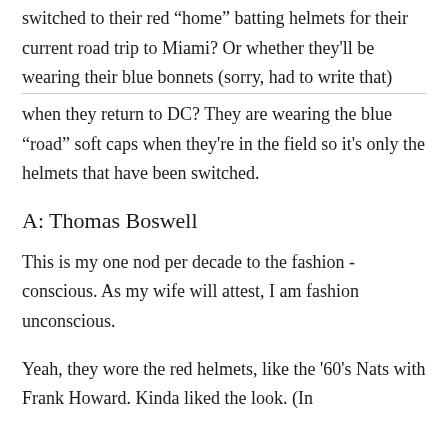switched to their red "home" batting helmets for their current road trip to Miami? Or whether they'll be wearing their blue bonnets (sorry, had to write that) when they return to DC? They are wearing the blue "road" soft caps when they're in the field so it's only the helmets that have been switched.
A: Thomas Boswell
This is my one nod per decade to the fashion - conscious. As my wife will attest, I am fashion unconscious.
Yeah, they wore the red helmets, like the '60's Nats with Frank Howard. Kinda liked the look. (In